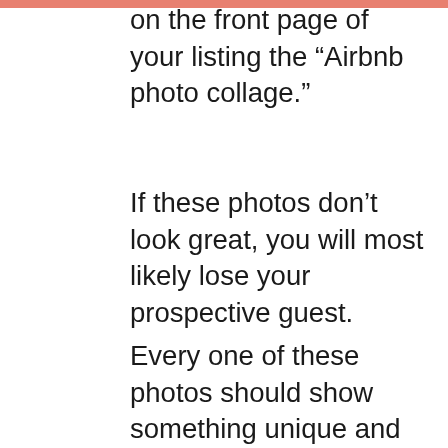on the front page of your listing the “Airbnb photo collage.”
If these photos don’t look great, you will most likely lose your prospective guest.
Every one of these photos should show something unique and attractive about the experience that you’re offering.
In the next photos...